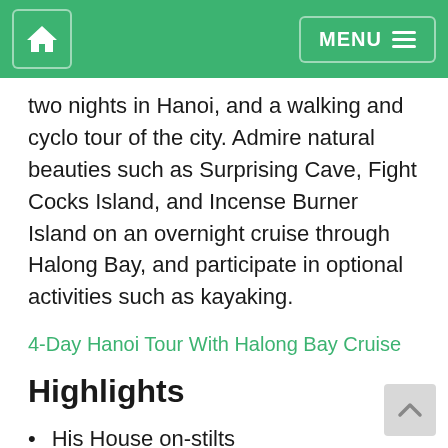Home | MENU
two nights in Hanoi, and a walking and cyclo tour of the city. Admire natural beauties such as Surprising Cave, Fight Cocks Island, and Incense Burner Island on an overnight cruise through Halong Bay, and participate in optional activities such as kayaking.
4-Day Hanoi Tour With Halong Bay Cruise
Highlights
His House on-stilts
Temple of Literature